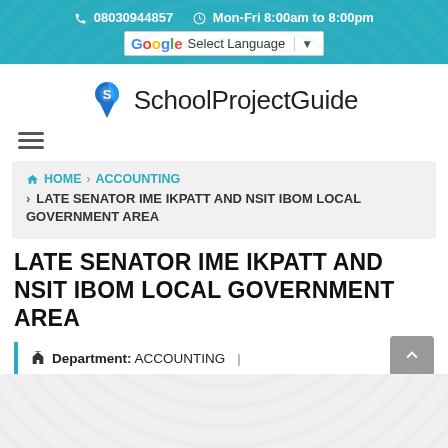📞 08030944857   ⏱ Mon-Fri 8:00am to 8:00pm
Select Language
[Figure (logo): SchoolProjectGuide logo with stylized S icon]
≡ (hamburger menu icon)
HOME > ACCOUNTING > LATE SENATOR IME IKPATT AND NSIT IBOM LOCAL GOVERNMENT AREA
LATE SENATOR IME IKPATT AND NSIT IBOM LOCAL GOVERNMENT AREA
🏛 Department: ACCOUNTING  |